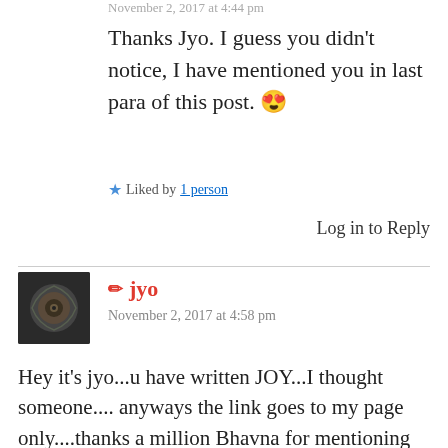November 2, 2017 at 4:44 pm
Thanks Jyo. I guess you didn't notice, I have mentioned you in last para of this post. 😍
Liked by 1 person
Log in to Reply
jyo
November 2, 2017 at 4:58 pm
Hey it's jyo...u have written JOY...I thought someone.... anyways the link goes to my page only....thanks a million Bhavna for mentioning me...you are so